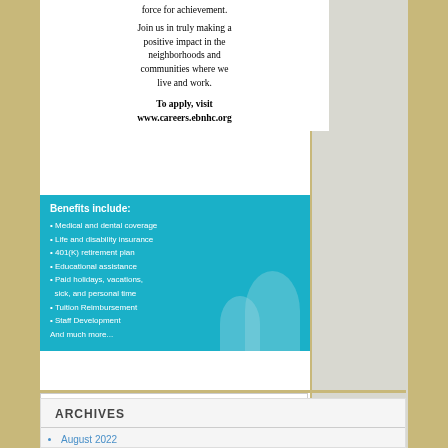force for achievement.
Join us in truly making a positive impact in the neighborhoods and communities where we live and work.
To apply, visit www.careers.ebnhc.org
[Figure (infographic): Benefits include box with teal background listing: Medical and dental coverage, Life and disability insurance, 401(K) retirement plan, Educational assistance, Paid holidays, vacations, sick, and personal time, Tuition Reimbursement, Staff Development, And much more...]
[Figure (logo): The Boston Globe TOP PLACES TO WORK SEVEN-TIME AWARDEE with colored year circles: 2021, 2020, 2019, 2017, 2016, 2015, 2014]
ARCHIVES
August 2022